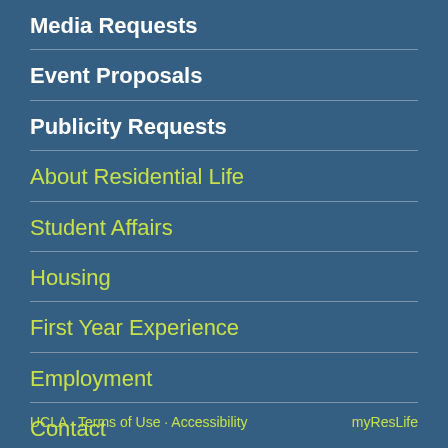Media Requests
Event Proposals
Publicity Requests
About Residential Life
Student Affairs
Housing
First Year Experience
Employment
Contact
UCLA · Terms of Use · Accessibility    myResLife